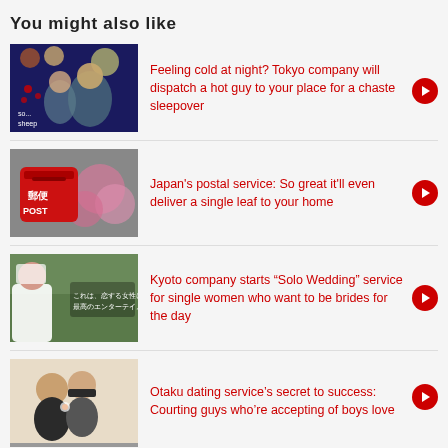You might also like
Feeling cold at night? Tokyo company will dispatch a hot guy to your place for a chaste sleepover
Japan's postal service: So great it'll even deliver a single leaf to your home
Kyoto company starts “Solo Wedding” service for single women who want to be brides for the day
Otaku dating service’s secret to success: Courting guys who’re accepting of boys love